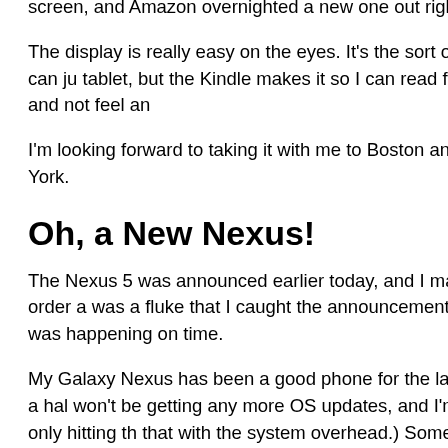screen, and Amazon overnighted a new one out right away.
The display is really easy on the eyes. It's the sort of thing you can ju tablet, but the Kindle makes it so I can read for hours and not feel an
I'm looking forward to taking it with me to Boston and New York.
Oh, a New Nexus!
The Nexus 5 was announced earlier today, and I managed to order a was a fluke that I caught the announcement just as it was happening on time.
My Galaxy Nexus has been a good phone for the last year and a hal won't be getting any more OS updates, and I'm tired of only hitting th that with the system overhead.) Some people virtuously declare that them. I'm not one of them. I have a lot of music, e-books, and other “ need that extra space, and I wind up using it all.
I hope the N5 arrives before I have to leave for Boston. I want to real trip.